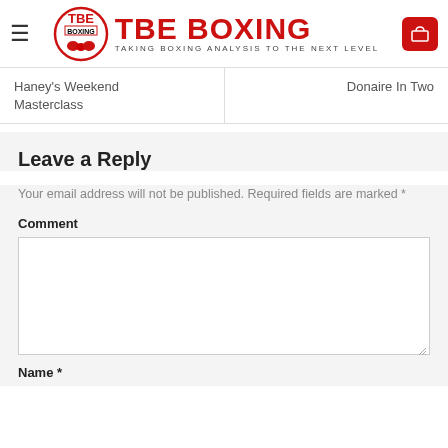TBE BOXING — TAKING BOXING ANALYSIS TO THE NEXT LEVEL
Haney's Weekend Masterclass
Donaire In Two
Leave a Reply
Your email address will not be published. Required fields are marked *
Comment
Name *